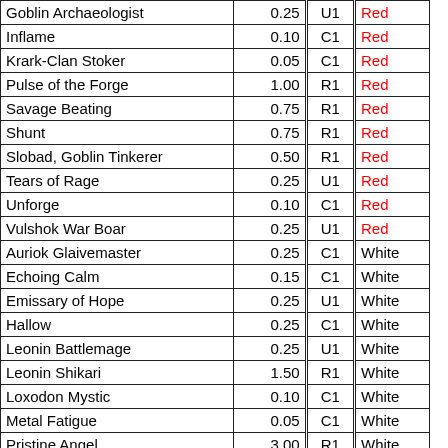| Name | Price | Rarity | Color |
| --- | --- | --- | --- |
| Goblin Archaeologist | 0.25 | U1 | Red |
| Inflame | 0.10 | C1 | Red |
| Krark-Clan Stoker | 0.05 | C1 | Red |
| Pulse of the Forge | 1.00 | R1 | Red |
| Savage Beating | 0.75 | R1 | Red |
| Shunt | 0.75 | R1 | Red |
| Slobad, Goblin Tinkerer | 0.50 | R1 | Red |
| Tears of Rage | 0.25 | U1 | Red |
| Unforge | 0.10 | C1 | Red |
| Vulshok War Boar | 0.25 | U1 | Red |
| Auriok Glaivemaster | 0.25 | C1 | White |
| Echoing Calm | 0.15 | C1 | White |
| Emissary of Hope | 0.25 | U1 | White |
| Hallow | 0.25 | C1 | White |
| Leonin Battlemage | 0.25 | U1 | White |
| Leonin Shikari | 1.50 | R1 | White |
| Loxodon Mystic | 0.10 | C1 | White |
| Metal Fatigue | 0.05 | C1 | White |
| Pristine Angel | 3.00 | R1 | White |
| Pteron Ghost | 0.10 | C1 | White |
| Pulse of the Fields | 1.00 | R1 | White |
| Purge | 0.50 | U1 | White |